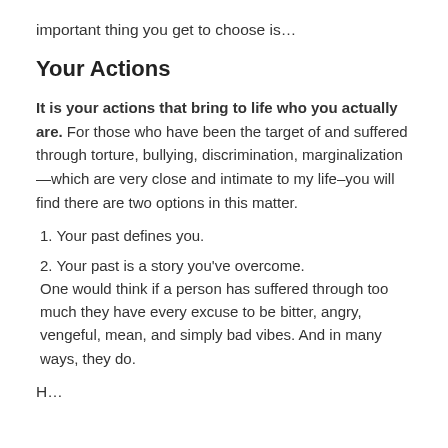important thing you get to choose is…
Your Actions
It is your actions that bring to life who you actually are. For those who have been the target of and suffered through torture, bullying, discrimination, marginalization—which are very close and intimate to my life–you will find there are two options in this matter.
1. Your past defines you.
2. Your past is a story you've overcome. One would think if a person has suffered through too much they have every excuse to be bitter, angry, vengeful, mean, and simply bad vibes. And in many ways, they do.
H…